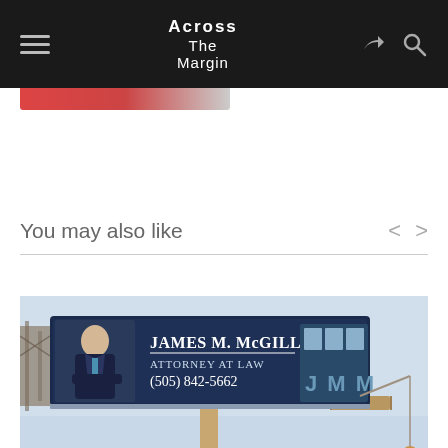Across The Margin
You may also like
[Figure (photo): Billboard advertisement for James M. McGill, Attorney at Law, (505) 842-5662, with JMM logo, and a figure hanging from a crane below the billboard.]